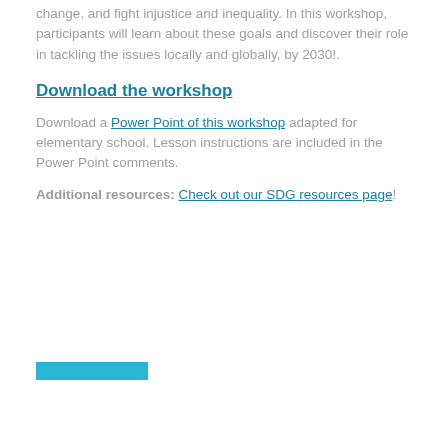change, and fight injustice and inequality.  In this workshop, participants will learn about these goals and discover their role in tackling the issues locally and globally, by 2030!.
Download the workshop
Download a Power Point of this workshop adapted for elementary school.  Lesson instructions are included in the Power Point comments.
Additional resources: Check out our SDG resources page!
[Figure (other): Cyan/teal horizontal bar decoration at bottom of page]